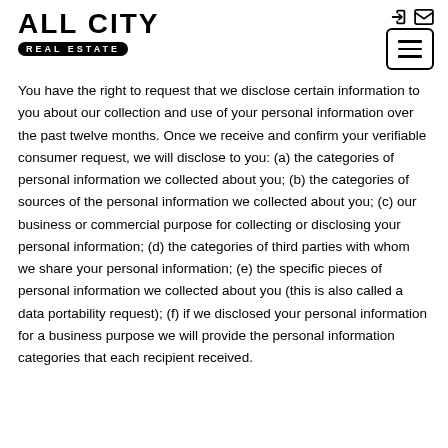All City Real Estate
You have the right to request that we disclose certain information to you about our collection and use of your personal information over the past twelve months. Once we receive and confirm your verifiable consumer request, we will disclose to you: (a) the categories of personal information we collected about you; (b) the categories of sources of the personal information we collected about you; (c) our business or commercial purpose for collecting or disclosing your personal information; (d) the categories of third parties with whom we share your personal information; (e) the specific pieces of personal information we collected about you (this is also called a data portability request); (f) if we disclosed your personal information for a business purpose we will provide the personal information categories that each recipient received.